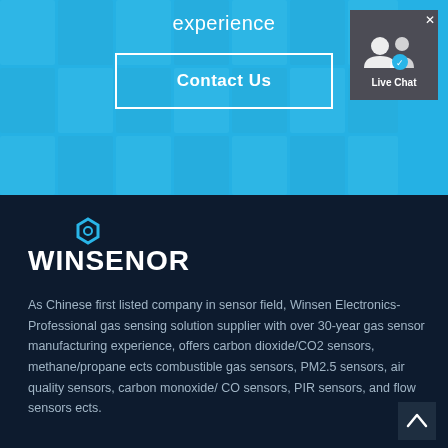experience
Contact Us
[Figure (screenshot): Live Chat widget with people icons]
[Figure (logo): WINSENOR logo with hexagon icon on dark navy background]
As Chinese first listed company in sensor field, Winsen Electronics-Professional gas sensing solution supplier with over 30-year gas sensor manufacturing experience, offers carbon dioxide/CO2 sensors, methane/propane ects combustible gas sensors, PM2.5 sensors, air quality sensors, carbon monoxide/ CO sensors, PIR sensors, and flow sensors ects.